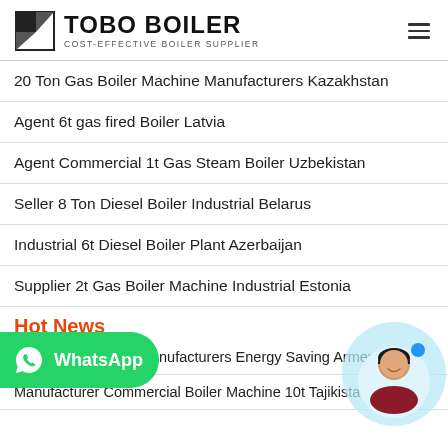TOBO BOILER — COST-EFFECTIVE BOILER SUPPLIER
20 Ton Gas Boiler Machine Manufacturers Kazakhstan
Agent 6t gas fired Boiler Latvia
Agent Commercial 1t Gas Steam Boiler Uzbekistan
Seller 8 Ton Diesel Boiler Industrial Belarus
Industrial 6t Diesel Boiler Plant Azerbaijan
Supplier 2t Gas Boiler Machine Industrial Estonia
Hot News
1t Oil Steam Boiler Manufacturers Energy Saving Armenia
Manufacturer Commercial Boiler Machine 10t Tajikistan